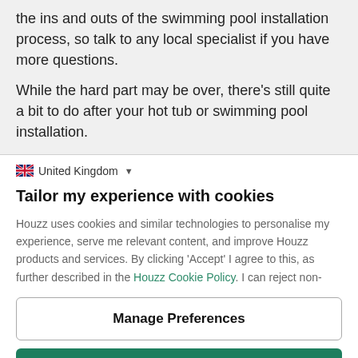the ins and outs of the swimming pool installation process, so talk to any local specialist if you have more questions.
While the hard part may be over, there's still quite a bit to do after your hot tub or swimming pool installation.
United Kingdom
Tailor my experience with cookies
Houzz uses cookies and similar technologies to personalise my experience, serve me relevant content, and improve Houzz products and services. By clicking 'Accept' I agree to this, as further described in the Houzz Cookie Policy. I can reject non-
Manage Preferences
Accept